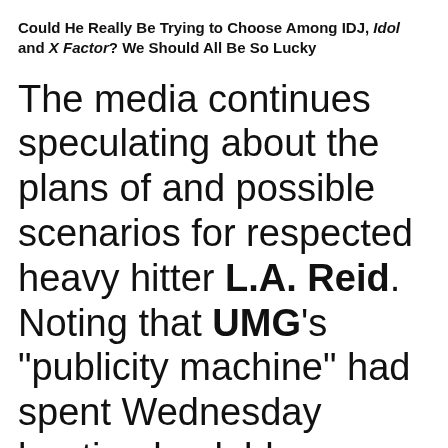Could He Really Be Trying to Choose Among IDJ, Idol and X Factor? We Should All Be So Lucky
The media continues speculating about the plans of and possible scenarios for respected heavy hitter L.A. Reid. Noting that UMG's "publicity machine" had spent Wednesday beating back blog reports that Reid had been fired, the N.Y. Daily News Gatecrasher column offered. "we hear the speculation